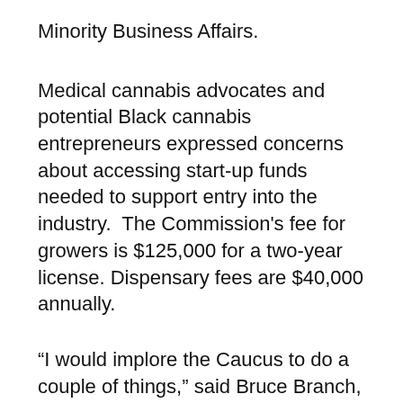Minority Business Affairs.
Medical cannabis advocates and potential Black cannabis entrepreneurs expressed concerns about accessing start-up funds needed to support entry into the industry.  The Commission's fee for growers is $125,000 for a two-year license. Dispensary fees are $40,000 annually.
“I would implore the Caucus to do a couple of things,” said Bruce Branch, of Maryland’s Business Clergy and Partnership.  “Why don’t we take a portion of all the drug money confiscated in the community and put it in a fund. This way, African Americans who do not have access to capital can go and get the help that they need.”